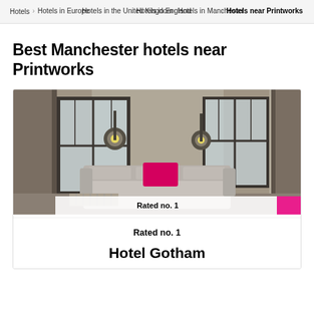Hotels > Hotels in Europe > Hotels in the United Kingdom > Hotels in England > Hotels in Manchester > Hotels near Printworks
Best Manchester hotels near Printworks
[Figure (photo): Hotel room interior with a grey sofa, pink accent pillow, large industrial-style windows with curtains, and two spotlight lamps]
Rated no. 1
Hotel Gotham